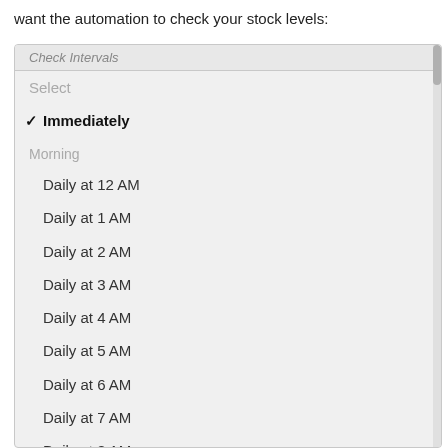want the automation to check your stock levels:
[Figure (screenshot): A dropdown menu showing schedule options. Contains: a truncated header 'Check Intervals', a greyed 'Select' placeholder, a checked 'Immediately' option, a group header 'Morning', then a list of daily time options from Daily at 12 AM through Daily at 6 PM (partially visible), with a group header 'Afternoon' between AM and PM times.]